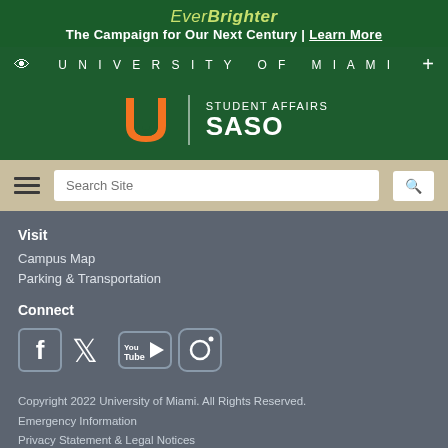EverBrighter — The Campaign for Our Next Century | Learn More
UNIVERSITY OF MIAMI
[Figure (logo): University of Miami Student Affairs SASO logo with UM U logo mark in orange and green]
Search Site
Visit
Campus Map
Parking & Transportation
Connect
[Figure (infographic): Social media icons: Facebook, Twitter, YouTube, Instagram]
Copyright 2022 University of Miami. All Rights Reserved.
Emergency Information
Privacy Statement & Legal Notices